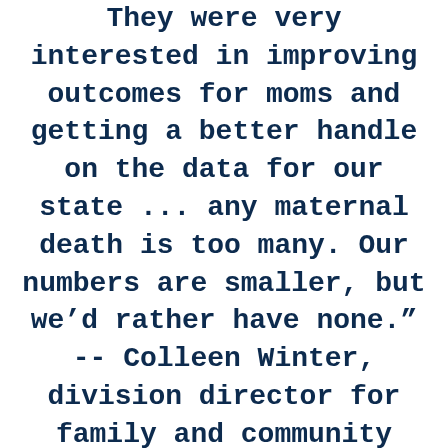They were very interested in improving outcomes for moms and getting a better handle on the data for our state ... any maternal death is too many. Our numbers are smaller, but we'd rather have none." -- Colleen Winter, division director for family and community